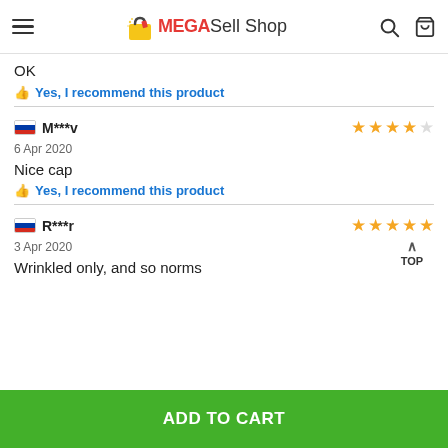MEGASell Shop
OK
👍 Yes, I recommend this product
M***v — 6 Apr 2020 — 4 stars — Nice cap — Yes, I recommend this product
R***r — 3 Apr 2020 — 5 stars — Wrinkled only, and so norms
ADD TO CART